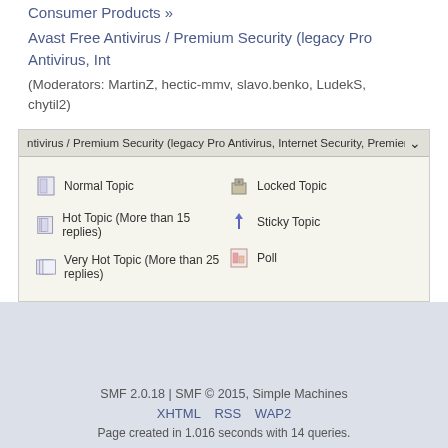Consumer Products »
Avast Free Antivirus / Premium Security (legacy Pro Antivirus, Int…
(Moderators: MartinZ, hectic-mmv, slavo.benko, LudekS, chytil2)
ntivirus / Premium Security (legacy Pro Antivirus, Internet Security, Premier) ▾
Normal Topic
Hot Topic (More than 15 replies)
Very Hot Topic (More than 25 replies)
Locked Topic
Sticky Topic
Poll
SMF 2.0.18 | SMF © 2015, Simple Machines
XHTML RSS WAP2
Page created in 1.016 seconds with 14 queries.